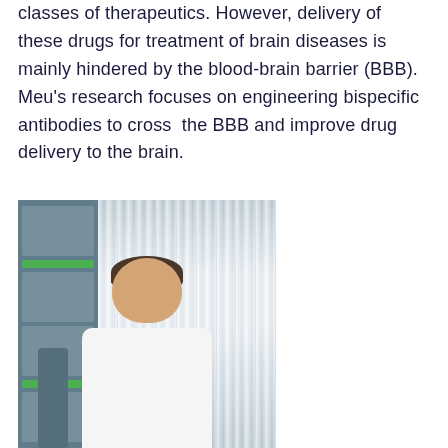classes of therapeutics. However, delivery of these drugs for treatment of brain diseases is mainly hindered by the blood-brain barrier (BBB). Meu's research focuses on engineering bispecific antibodies to cross the BBB and improve drug delivery to the brain.
[Figure (photo): A young man in a white polo shirt seated in a laboratory or office environment with vertical window blinds in the background and lab equipment visible on the left side.]